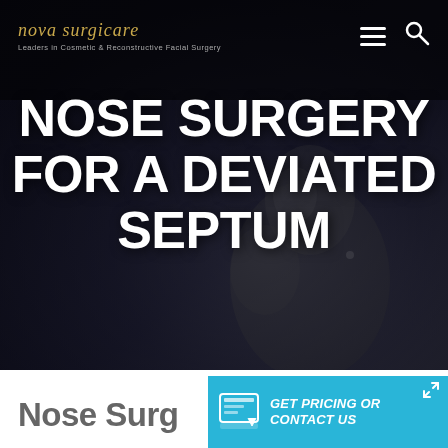[Figure (screenshot): Dark hero background with gradient from dark navy/black to dark gray, with a faint grayscale image of a woman touching her face/neck visible in the lower right portion]
nova surgicare — Leaders in Cosmetic & Reconstructive Facial Surgery
NOSE SURGERY FOR A DEVIATED SEPTUM
Nose Surg
GET PRICING OR CONTACT US